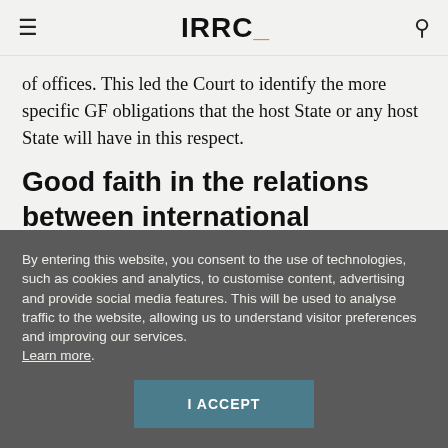IRRC_
of offices. This led the Court to identify the more specific GF obligations that the host State or any host State will have in this respect.
Good faith in the relations between international
By entering this website, you consent to the use of technologies, such as cookies and analytics, to customise content, advertising and provide social media features. This will be used to analyse traffic to the website, allowing us to understand visitor preferences and improving our services. Learn more.
I ACCEPT